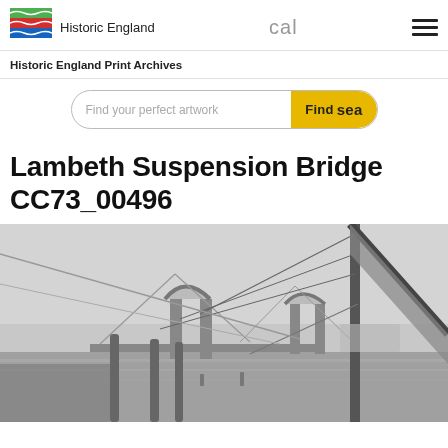Historic England | cal | menu
Historic England Print Archives
Find your perfect artwork | Find search
Lambeth Suspension Bridge CC73_00496
[Figure (photo): Black and white photograph of Lambeth Suspension Bridge with sailing vessel rigging in the foreground, taken from the riverside. The bridge features suspension towers with ornate ironwork. Wooden mooring posts visible in the foreground.]